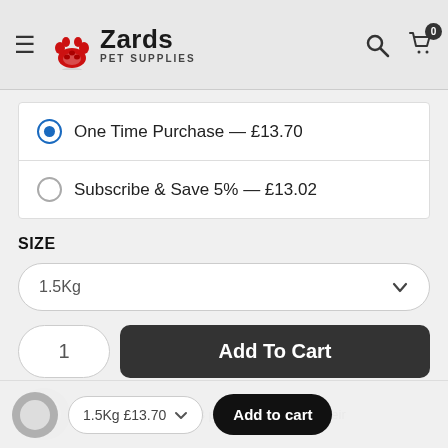[Figure (logo): Zards Pet Supplies logo with red paw print icon and brand name]
One Time Purchase — £13.70
Subscribe & Save 5% — £13.02
SIZE
1.5Kg
1
Add To Cart
1.5Kg £13.70
Add to cart